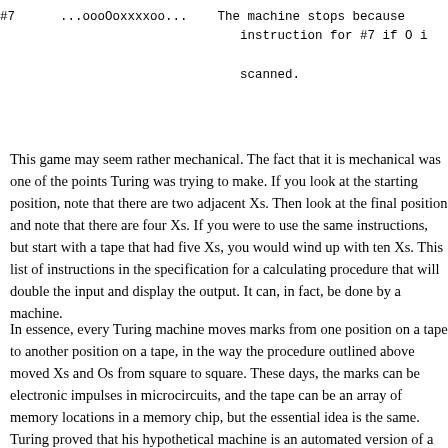| #7 | ...oooOoxxxxoo... | The machine stops because |
|  |  | instruction for #7 if O i |
|  |  | scanned. |
This game may seem rather mechanical. The fact that it is mechanical was one of the points Turing was trying to make. If you look at the starting position, note that there are two adjacent Xs. Then look at the final position and note that there are four Xs. If you were to use the same instructions, but start with a tape that had five Xs, you would wind up with ten Xs. This list of instructions in the specification for a calculating procedure that will double the input and display the output. It can, in fact, be done by a machine.
In essence, every Turing machine moves marks from one position on a tape to another position on a tape, in the way the procedure outlined above moved Xs and Os from square to square. These days, the marks can be electronic impulses in microcircuits, and the tape can be an array of memory locations in a memory chip, but the essential idea is the same. Turing proved that his hypothetical machine is an automated version of a formal system.